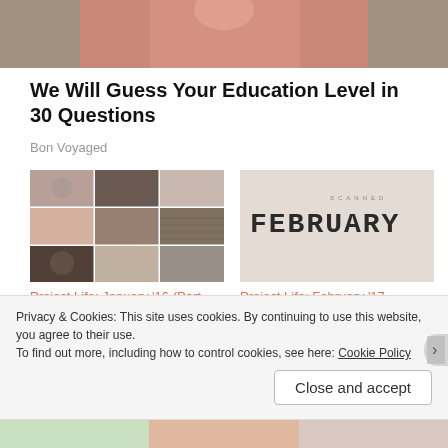[Figure (photo): Partial photo of a person wearing a pink/coral outfit, cropped at torso level]
We Will Guess Your Education Level in 30 Questions
Bon Voyaged
[Figure (photo): Photo collage scrapbook layout for Project Life January 2016]
Project Life: January '16 (Part Two)
February 14, 2016
[Figure (photo): Graphic image with FEBRUARY text in bold letters on textured background]
Project Life: February '17
March 8, 2017
In "Downloads"
Privacy & Cookies: This site uses cookies. By continuing to use this website, you agree to their use.
To find out more, including how to control cookies, see here: Cookie Policy
Close and accept